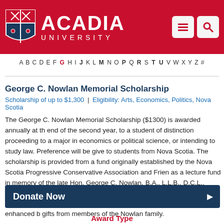[Figure (logo): Acadia University header with red background, shield logo, university name, and navigation icons]
A B C D E F G H I J K L M N O P Q R S T U V W X Y Z #
George C. Nowlan Memorial Scholarship
Scholarship of up to $1,300 | Eligibility: Arts, Economics, Politics, Nova Scotia
The George C. Nowlan Memorial Scholarship ($1300) is awarded annually at the end of the second year, to a student of distinction proceeding to a major in economics or political science, or intending to study law. Preference will be given to students from Nova Scotia. The scholarship is provided from a fund originally established by the Nova Scotia Progressive Conservative Association and Friends as a lecture fund in memory of the late Hon. George C. Nowlan, B.A., L.L.B., D.C.L., L.L.D., P.C., Q.C., M.P. (former Minister of National Revenue and Minister of Finance in the Diefenbaker Government). The Fund was further enhanced by gifts from members of the Nowlan family.
Donate Now
Award Type